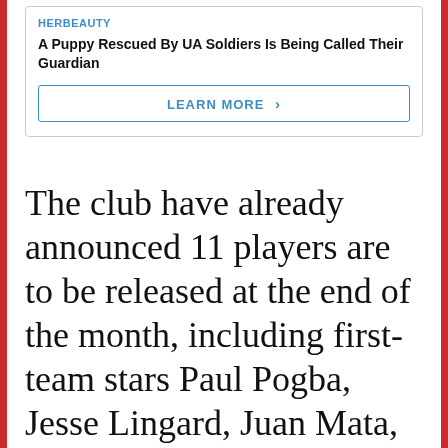[Figure (screenshot): Advertisement box for HERBEAUTY with headline 'A Puppy Rescued By UA Soldiers Is Being Called Their Guardian' and a LEARN MORE button]
The club have already announced 11 players are to be released at the end of the month, including first-team stars Paul Pogba, Jesse Lingard, Juan Mata, Nemanja Matic and Edinson Cavani.